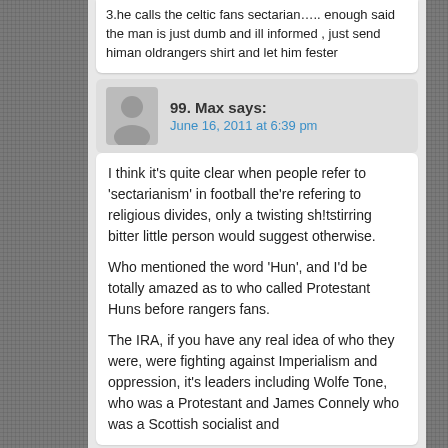3.he calls the celtic fans sectarian….. enough said the man is just dumb and ill informed , just send himan oldrangers shirt and let him fester
99. Max says:
June 16, 2011 at 6:39 pm
I think it's quite clear when people refer to 'sectarianism' in football the're refering to religious divides, only a twisting sh!tstirring bitter little person would suggest otherwise.

Who mentioned the word 'Hun', and I'd be totally amazed as to who called Protestant Huns before rangers fans.

The IRA, if you have any real idea of who they were, were fighting against Imperialism and oppression, it's leaders including Wolfe Tone, who was a Protestant and James Connely who was a Scottish socialist and